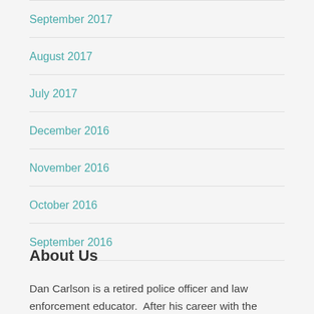September 2017
August 2017
July 2017
December 2016
November 2016
October 2016
September 2016
About Us
Dan Carlson is a retired police officer and law enforcement educator. After his career with the